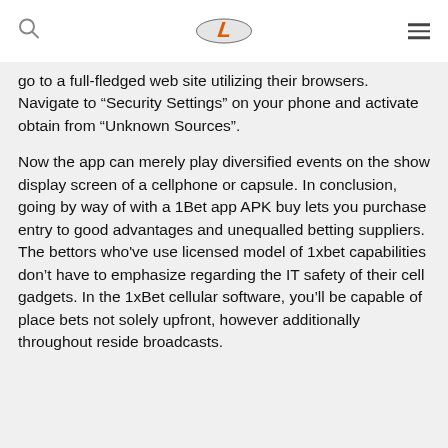[Logo: L] [Search icon] [Hamburger menu]
go to a full-fledged web site utilizing their browsers. Navigate to “Security Settings” on your phone and activate obtain from “Unknown Sources”.
Now the app can merely play diversified events on the show display screen of a cellphone or capsule. In conclusion, going by way of with a 1Bet app APK buy lets you purchase entry to good advantages and unequalled betting suppliers. The bettors who've use licensed model of 1xbet capabilities don’t have to emphasize regarding the IT safety of their cell gadgets. In the 1xBet cellular software, you’ll be capable of place bets not solely upfront, however additionally throughout reside broadcasts.